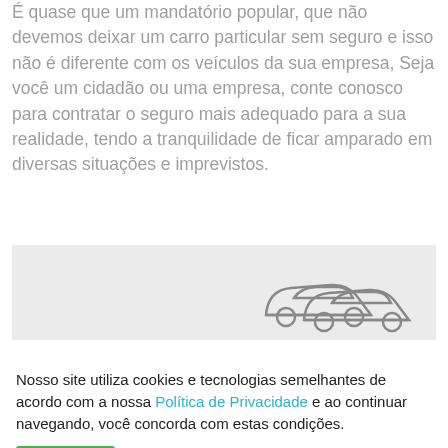É quase que um mandatório popular, que não devemos deixar um carro particular sem seguro e isso não é diferente com os veículos da sua empresa, Seja você um cidadão ou uma empresa, conte conosco para contratar o seguro mais adequado para a sua realidade, tendo a tranquilidade de ficar amparado em diversas situações e imprevistos.
[Figure (illustration): A partial illustration of cars on a light grey background, visible at the bottom right of the image box.]
Nosso site utiliza cookies e tecnologias semelhantes de acordo com a nossa Política de Privacidade e ao continuar navegando, você concorda com estas condições.
Aceitar